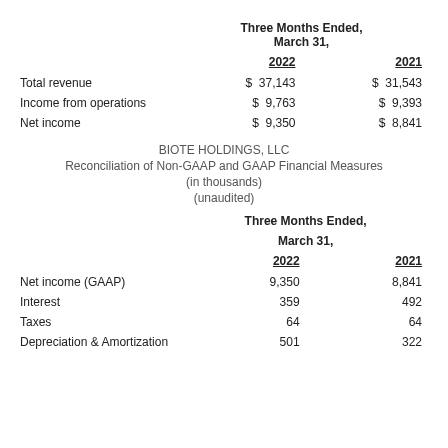|  | Three Months Ended, March 31, 2022 | Three Months Ended, March 31, 2021 |
| --- | --- | --- |
| Total revenue | $ 37,143 | $ 31,543 |
| Income from operations | $ 9,763 | $ 9,393 |
| Net income | $ 9,350 | $ 8,841 |
BIOTE HOLDINGS, LLC
Reconciliation of Non-GAAP and GAAP Financial Measures
(in thousands)
(unaudited)
|  | Three Months Ended, March 31, 2022 | Three Months Ended, March 31, 2021 |
| --- | --- | --- |
| Net income (GAAP) | 9,350 | 8,841 |
| Interest | 359 | 492 |
| Taxes | 64 | 64 |
| Depreciation & Amortization | 501 | 322 |